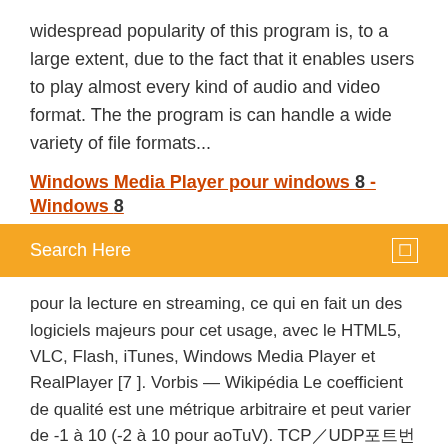widespread popularity of this program is, to a large extent, due to the fact that it enables users to play almost every kind of audio and video format. The the program is can handle a wide variety of file formats...
Windows Media Player pour windows 8 - Windows 8
[Figure (screenshot): Orange search bar with 'Search Here' text and a search icon on the right]
pour la lecture en streaming, ce qui en fait un des logiciels majeurs pour cet usage, avec le HTML5, VLC, Flash, iTunes, Windows Media Player et RealPlayer [7 ]. Vorbis — Wikipédia Le coefficient de qualité est une métrique arbitraire et peut varier de -1 à 10 (-2 à 10 pour aoTuV). TCP／UDP포트번호목록 - Wikipedia 0-1023포트는등록된포트이거나잘알려진포트이다．０번포트는any port를의미하며 포트는소프트웨어가사용하는가상의주소이다．０번포트는...
Gestionnaire de fenetre du bureau mémoire